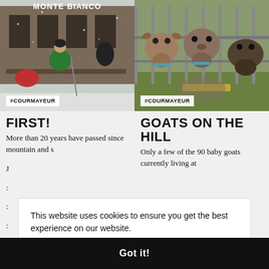[Figure (photo): Person in green jacket sitting on bench in snowy conditions outside Monte Bianco building with hashtag #COURMAYEUR badge]
[Figure (photo): Three goats in a pen looking through metal bars with hashtag #COURMAYEUR badge]
FIRST!
More than 20 years have passed since mountain and s... J... :... :... :...
GOATS ON THE HILL
Only a few of the 90 baby goats currently living at
This website uses cookies to ensure you get the best experience on our website.
Learn more
Got it!